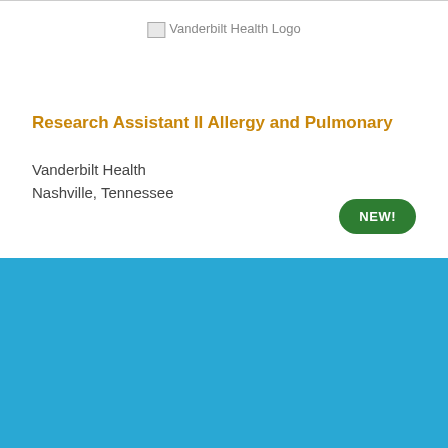[Figure (logo): Vanderbilt Health Logo placeholder image]
Research Assistant II Allergy and Pulmonary
Vanderbilt Health
Nashville, Tennessee
NEW!
Cookie Settings  Got it
We use cookies so that we can remember you and understand how you use our site. If you do not agree with our use of cookies, please change the current settings found in our Cookie Policy. Otherwise, you agree to the use of the cookies as they are currently set.